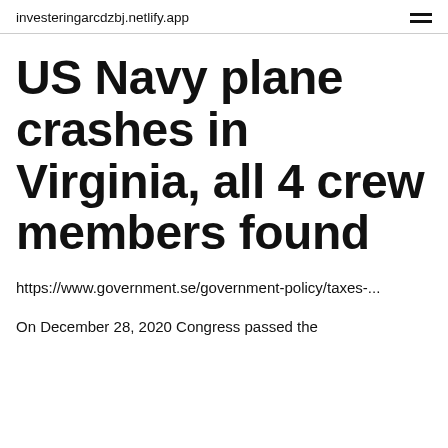investeringarcdzbj.netlify.app
US Navy plane crashes in Virginia, all 4 crew members found
https://www.government.se/government-policy/taxes-...
On December 28, 2020 Congress passed the